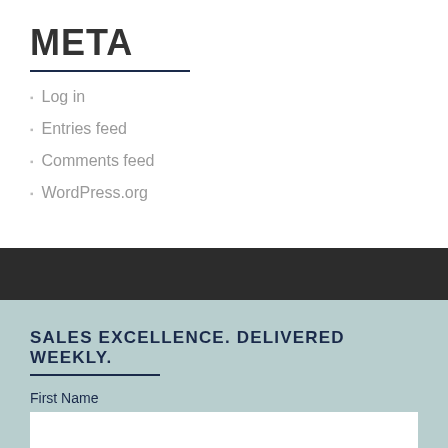META
Log in
Entries feed
Comments feed
WordPress.org
SALES EXCELLENCE. DELIVERED WEEKLY.
First Name